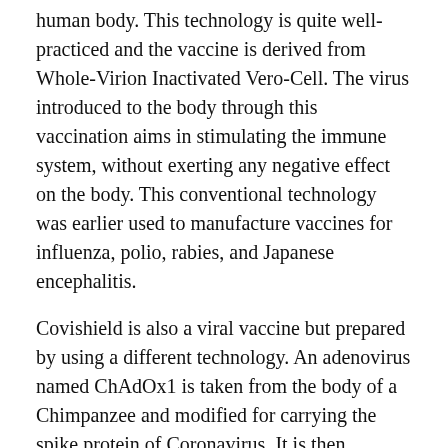human body. This technology is quite well-practiced and the vaccine is derived from Whole-Virion Inactivated Vero-Cell. The virus introduced to the body through this vaccination aims in stimulating the immune system, without exerting any negative effect on the body. This conventional technology was earlier used to manufacture vaccines for influenza, polio, rabies, and Japanese encephalitis.
Covishield is also a viral vaccine but prepared by using a different technology. An adenovirus named ChAdOx1 is taken from the body of a Chimpanzee and modified for carrying the spike protein of Coronavirus. It is then injected into the body of the vaccine receive so that this cold virus can stimulate the immune system of a human body to produce antibodies to fight